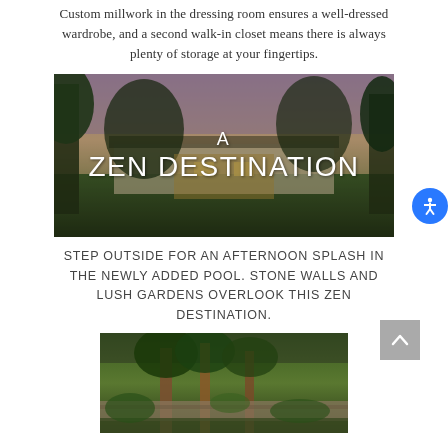Custom millwork in the dressing room ensures a well-dressed wardrobe, and a second walk-in closet means there is always plenty of storage at your fingertips.
[Figure (photo): Aerial or exterior view of a home surrounded by lush trees and landscaping with text overlay reading 'A ZEN DESTINATION']
STEP OUTSIDE FOR AN AFTERNOON SPLASH IN THE NEWLY ADDED POOL. STONE WALLS AND LUSH GARDENS OVERLOOK THIS ZEN DESTINATION.
[Figure (photo): Outdoor garden scene with tall trees, stone walls, and lush landscaping at dusk or evening]